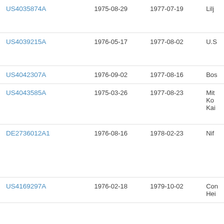| Patent | Filing Date | Publication Date | Assignee |
| --- | --- | --- | --- |
| US4035874A | 1975-08-29 | 1977-07-19 | Lilj… |
| US4039215A | 1976-05-17 | 1977-08-02 | U.S… |
| US4042307A | 1976-09-02 | 1977-08-16 | Bos… |
| US4043585A | 1975-03-26 | 1977-08-23 | Mit… Ko… Kai… |
| DE2736012A1 | 1976-08-16 | 1978-02-23 | Nif… |
| US4169297A | 1976-02-18 | 1979-10-02 | Con… Hei… |